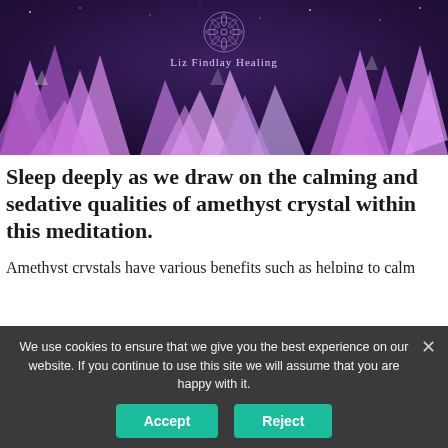[Figure (photo): Header banner with purple/violet amethyst crystals on a dark blue/purple starry background, with a mandala logo and 'Liz Findlay Healing' text centered at the top]
Liz Findlay Healing
Sleep deeply as we draw on the calming and sedative qualities of amethyst crystal within this meditation.
Amethyst crystals have various benefits such as helping to calm your mind and protecting you in your sleep. They have purifying energies and natural sedative effects. We begin with guided deep breathing to start the relaxation process by activating your parasympathetic nervous system to help
We use cookies to ensure that we give you the best experience on our website. If you continue to use this site we will assume that you are happy with it.